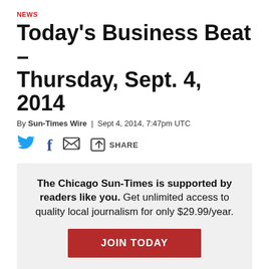NEWS
Today's Business Beat – Thursday, Sept. 4, 2014
By Sun-Times Wire | Sept 4, 2014, 7:47pm UTC
[Figure (other): Social sharing icons: Twitter bird, Facebook f, email envelope, share icon with SHARE label]
The Chicago Sun-Times is supported by readers like you. Get unlimited access to quality local journalism for only $29.99/year. JOIN TODAY
Workers rally for $15 an hour